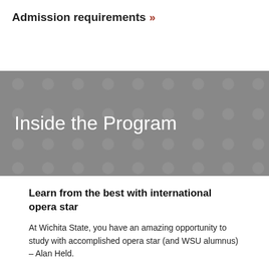Admission requirements »
Inside the Program
Learn from the best with international opera star
At Wichita State, you have an amazing opportunity to study with accomplished opera star (and WSU alumnus) – Alan Held.
Held, an international opera star and one of the